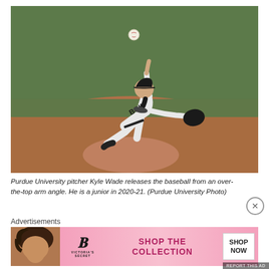[Figure (photo): Purdue University pitcher Kyle Wade in white BOILERS uniform releasing a baseball from an over-the-top arm angle on the pitcher's mound at night. Baseball is visible in the air above. Baseball field dirt and green outfield visible in background.]
Purdue University pitcher Kyle Wade releases the baseball from an over-the-top arm angle. He is a junior in 2020-21. (Purdue University Photo)
Advertisements
[Figure (photo): Victoria's Secret advertisement banner showing a model on the left, the Victoria's Secret logo in the center, and 'SHOP THE COLLECTION' text with a 'SHOP NOW' button on the right. Pink background.]